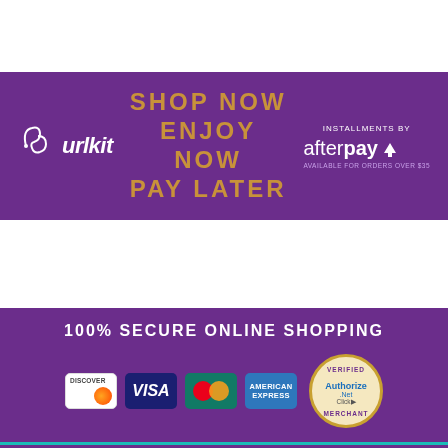[Figure (infographic): Curlkit logo with purple banner advertising Shop Now Enjoy Now Pay Later with Afterpay installments available for orders over $35]
100% SECURE ONLINE SHOPPING
[Figure (infographic): Payment card logos: Discover, Visa, Mastercard, American Express, and Authorize.Net Verified Merchant badge]
NEED HELP?
[Figure (infographic): Help icons row at bottom of page]